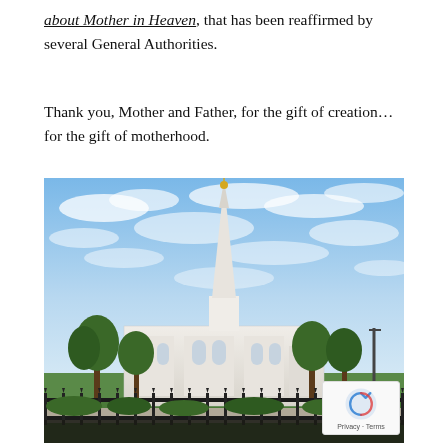about Mother in Heaven, that has been reaffirmed by several General Authorities.
Thank you, Mother and Father, for the gift of creation…for the gift of motherhood.
[Figure (photo): Photograph of an LDS/Mormon temple with a tall white spire topped with a golden figure, surrounded by trees and an iron fence, under a partly cloudy blue sky.]